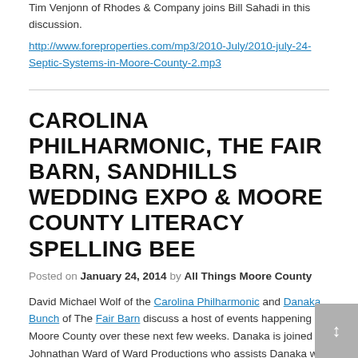Tim Venjonn of Rhodes & Company joins Bill Sahadi in this discussion.
http://www.foreproperties.com/mp3/2010-July/2010-july-24-Septic-Systems-in-Moore-County-2.mp3
CAROLINA PHILHARMONIC, THE FAIR BARN, SANDHILLS WEDDING EXPO & MOORE COUNTY LITERACY SPELLING BEE
Posted on January 24, 2014 by All Things Moore County
David Michael Wolf of the Carolina Philharmonic and Danaka Bunch of The Fair Barn discuss a host of events happening in Moore County over these next few weeks. Danaka is joined by Johnathan Ward of Ward Productions who assists Danaka with many production functions in Moore County.
[Figure (other): All Things Moore County image placeholder]